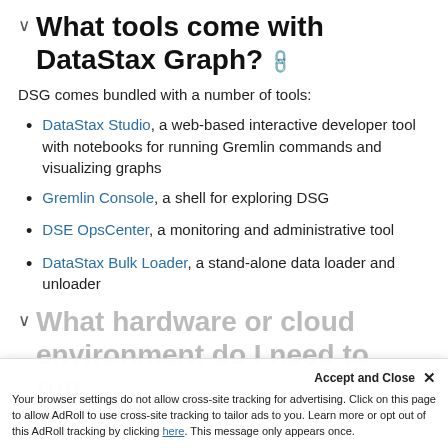What tools come with DataStax Graph?
DSG comes bundled with a number of tools:
DataStax Studio, a web-based interactive developer tool with notebooks for running Gremlin commands and visualizing graphs
Gremlin Console, a shell for exploring DSG
DSE OpsCenter, a monitoring and administrative tool
DataStax Bulk Loader, a stand-alone data loader and unloader
What hardware or cloud environment do I need to run…
Accept and Close ×
Your browser settings do not allow cross-site tracking for advertising. Click on this page to allow AdRoll to use cross-site tracking to tailor ads to you. Learn more or opt out of this AdRoll tracking by clicking here. This message only appears once.